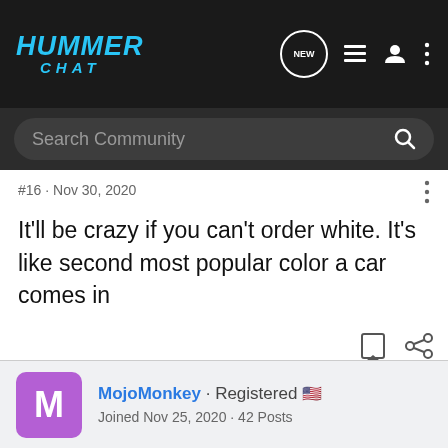HUMMER CHAT
#16 · Nov 30, 2020
It'll be crazy if you can't order white. It's like second most popular color a car comes in
MojoMonkey · Registered 🇺🇸 Joined Nov 25, 2020 · 42 Posts